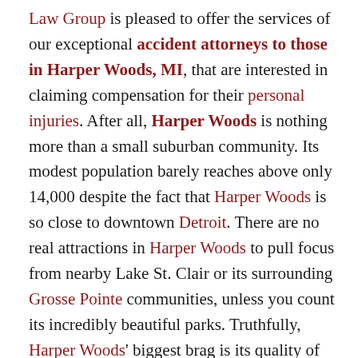Law Group is pleased to offer the services of our exceptional accident attorneys to those in Harper Woods, MI, that are interested in claiming compensation for their personal injuries. After all, Harper Woods is nothing more than a small suburban community. Its modest population barely reaches above only 14,000 despite the fact that Harper Woods is so close to downtown Detroit. There are no real attractions in Harper Woods to pull focus from nearby Lake St. Clair or its surrounding Grosse Pointe communities, unless you count its incredibly beautiful parks. Truthfully, Harper Woods' biggest brag is its quality of education, which includes a number of impressive public schools across two districts, as well as access to Wayne County Community College's University Square campus. In fact, most of the time, Harper Woods is just the quiet place everyone